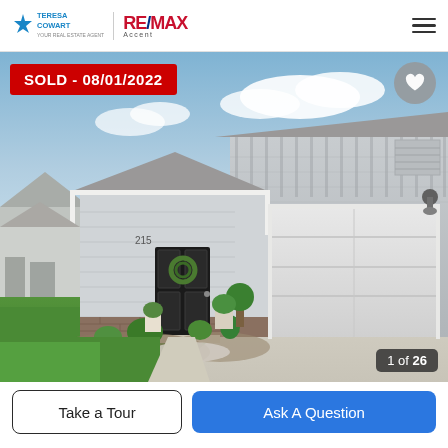Teresa Cowart | RE/MAX Accent
[Figure (photo): Exterior photo of a single-story home with gray board-and-batten siding, black front door with wreath, two-car garage, brick accent, and landscaped driveway. Overlay badge reads 'SOLD - 08/01/2022'. Image counter shows '1 of 26'.]
SOLD - 08/01/2022
1 of 26
Take a Tour
Ask A Question